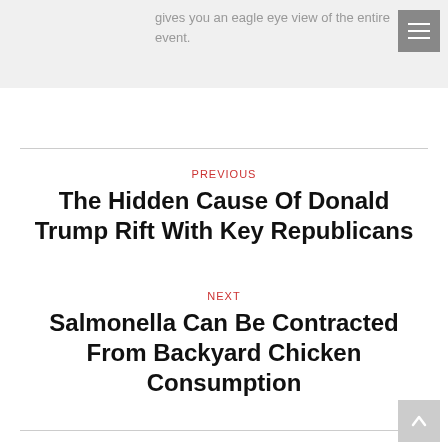gives you an eagle eye view of the entire event.
PREVIOUS
The Hidden Cause Of Donald Trump Rift With Key Republicans
NEXT
Salmonella Can Be Contracted From Backyard Chicken Consumption